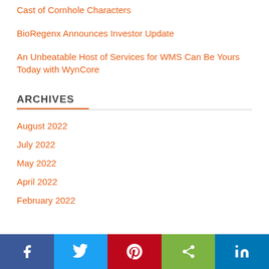Cast of Cornhole Characters
BioRegenx Announces Investor Update
An Unbeatable Host of Services for WMS Can Be Yours Today with WynCore
ARCHIVES
August 2022
July 2022
May 2022
April 2022
February 2022